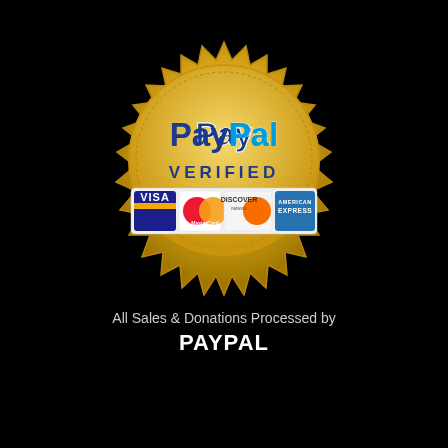[Figure (logo): PayPal Verified gold seal badge with credit card logos (Visa, MasterCard, Discover, American Express) shown at the bottom of the seal]
All Sales & Donations Processed by
PAYPAL